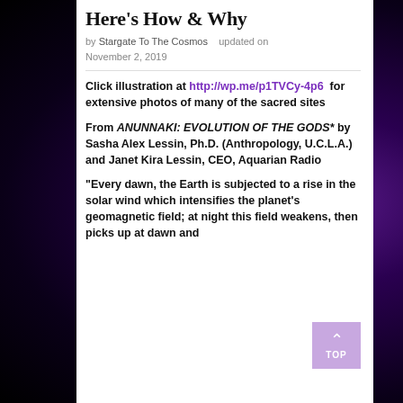Here's How & Why
by Stargate To The Cosmos   updated on November 2, 2019
Click illustration at http://wp.me/p1TVCy-4p6 for extensive photos of many of the sacred sites
From ANUNNAKI: EVOLUTION OF THE GODS* by Sasha Alex Lessin, Ph.D. (Anthropology, U.C.L.A.) and Janet Kira Lessin, CEO, Aquarian Radio
“Every dawn, the Earth is subjected to a rise in the solar wind which intensifies the planet’s geomagnetic field; at night this field weakens, then picks up at dawn and